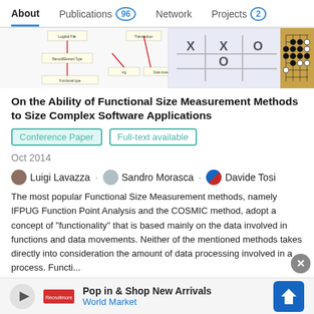About   Publications 96   Network   Projects 2
[Figure (screenshot): Thumbnail strip showing diagrams: flowchart/data flow diagram, tic-tac-toe board with X X O / O, and a Go game board with black and white stones]
On the Ability of Functional Size Measurement Methods to Size Complex Software Applications
Conference Paper   Full-text available
Oct 2014
Luigi Lavazza · Sandro Morasca · Davide Tosi
The most popular Functional Size Measurement methods, namely IFPUG Function Point Analysis and the COSMIC method, adopt a concept of "functionality" that is based mainly on the data involved in functions and data movements. Neither of the mentioned methods takes directly into consideration the amount of data processing involved in a process. Functi...
Advertisement
Pop in & Shop New Arrivals
World Market